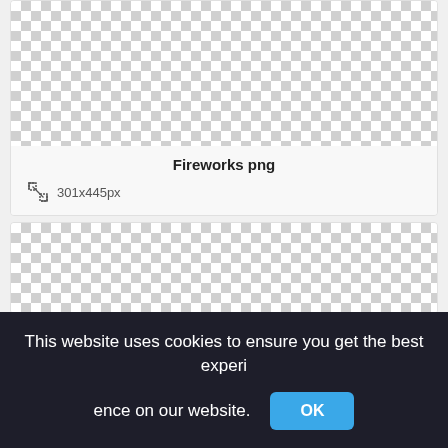[Figure (other): Checkerboard transparent image placeholder for Fireworks png, 301x445px]
Fireworks png
301x445px
[Figure (other): Checkerboard transparent image placeholder (second image, partially visible)]
This website uses cookies to ensure you get the best experience on our website.